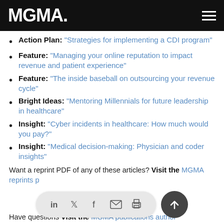MGMA
Action Plan: "Strategies for implementing a CDI program"
Feature: "Managing your online reputation to impact revenue and patient experience"
Feature: "The inside baseball on outsourcing your revenue cycle"
Bright Ideas: "Mentoring Millennials for future leadership in healthcare"
Insight: "Cyber incidents in healthcare: How much would you pay?"
Insight: "Medical decision-making: Physician and coder insights"
Want a reprint PDF of any of these articles? Visit the MGMA reprints p...
Have questions ... consideration? Visit the MGMA publications author